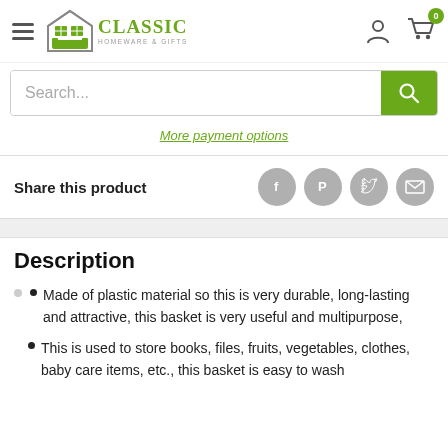Classic Homeware & Gifts
Search...
More payment options
Share this product
Description
Made of plastic material so this is very durable, long-lasting and attractive, this basket is very useful and multipurpose,
This is used to store books, files, fruits, vegetables, clothes, baby care items, etc., this basket is easy to wash